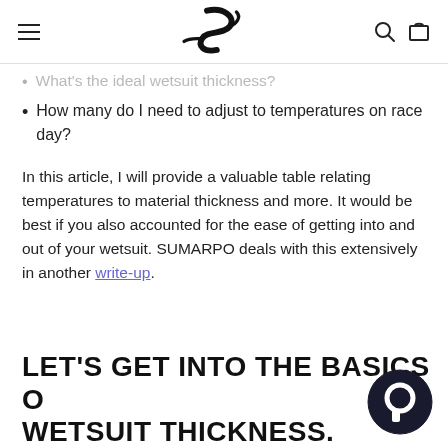[Hamburger menu] [SUMARPO logo] [Search icon] [Cart icon]
What's the ideal wetsuit thickness? (partially visible, cut off)
How many do I need to adjust to temperatures on race day?
In this article, I will provide a valuable table relating temperatures to material thickness and more. It would be best if you also accounted for the ease of getting into and out of your wetsuit. SUMARPO deals with this extensively in another write-up.
LET'S GET INTO THE BASICS OF WETSUIT THICKNESS.